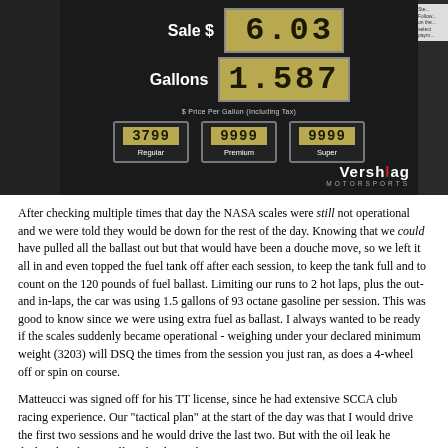[Figure (photo): Gas pump display showing Sale $6.03, Gallons 1.587, with prices for Regular (3799), Premium (9999), and Super (9999). Verslag Motorsports watermark in bottom right.]
After checking multiple times that day the NASA scales were still not operational and we were told they would be down for the rest of the day. Knowing that we could have pulled all the ballast out but that would have been a douche move, so we left it all in and even topped the fuel tank off after each session, to keep the tank full and to count on the 120 pounds of fuel ballast. Limiting our runs to 2 hot laps, plus the out- and in-laps, the car was using 1.5 gallons of 93 octane gasoline per session. This was good to know since we were using extra fuel as ballast. I always wanted to be ready if the scales suddenly became operational - weighing under your declared minimum weight (3203) will DSQ the times from the session you just ran, as does a 4-wheel off or spin on course.
Matteucci was signed off for his TT license, since he had extensive SCCA club racing experience. Our "tactical plan" at the start of the day was that I would drive the first two sessions and he would drive the last two. But with the oil leak he declined to drive at all, and I changed my